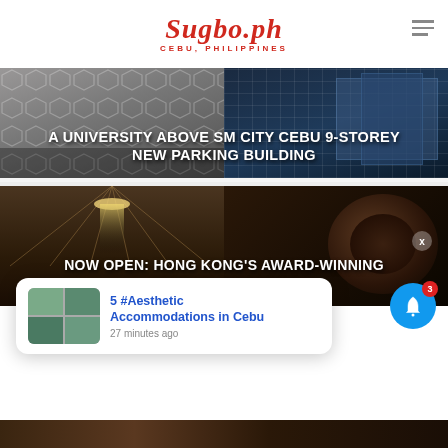Sugbo.ph — CEBU, PHILIPPINES
[Figure (photo): Article banner: two-panel image showing a university building with hexagonal facade and SM City Cebu 9-storey new parking building; white bold text overlay reads: A UNIVERSITY ABOVE SM CITY CEBU 9-STOREY NEW PARKING BUILDING]
[Figure (photo): Article banner: two-panel image showing interior of a luxury restaurant (Hong Kong Mott 32) with chandelier and an Asian food bowl; white bold text overlay reads: NOW OPEN: HONG KONG'S AWARD-WINNING MOTT 32 AT NUSTAR]
5 #Aesthetic Accommodations in Cebu
27 minutes ago
[Figure (photo): Partial strip of a third article image at the bottom of the page]